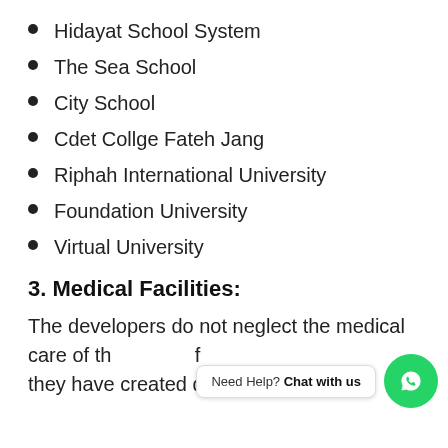Hidayat School System
The Sea School
City School
Cdet Collge Fateh Jang
Riphah International University
Foundation University
Virtual University
3. Medical Facilities:
The developers do not neglect the medical care of th f they have created different clinics and